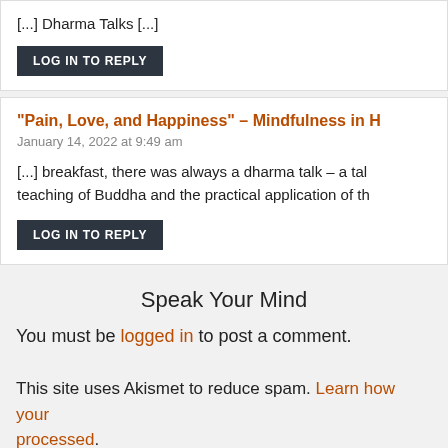[...] Dharma Talks [...]
LOG IN TO REPLY
“Pain, Love, and Happiness” – Mindfulness in H
January 14, 2022 at 9:49 am
[...] breakfast, there was always a dharma talk – a tal teaching of Buddha and the practical application of th
LOG IN TO REPLY
Speak Your Mind
You must be logged in to post a comment.
This site uses Akismet to reduce spam. Learn how your processed.